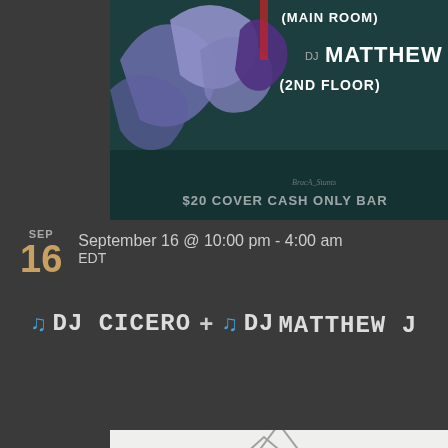[Figure (illustration): Event flyer/poster with dark teal background, abstract bird artwork, showing '(MAIN ROOM)', 'DJ MATTHEW J', '(2ND FLOOR)', '$20 COVER CASH ONLY BAR' text]
September 16 @ 10:00 pm - 4:00 am EDT
DJ CICERO + DJ MATTHEW J
[Figure (illustration): Light gray placeholder image with mountain/landscape icon outline]